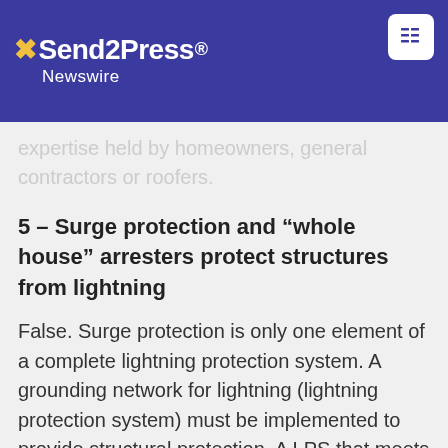Send2Press Newswire
expertise held by homeowners, general contractors or roofers.
5 – Surge protection and “whole house” arresters protect structures from lightning
False. Surge protection is only one element of a complete lightning protection system. A grounding network for lightning (lightning protection system) must be implemented to provide structural protection. A LPS that meets national safety standards includes strike termination devices, down